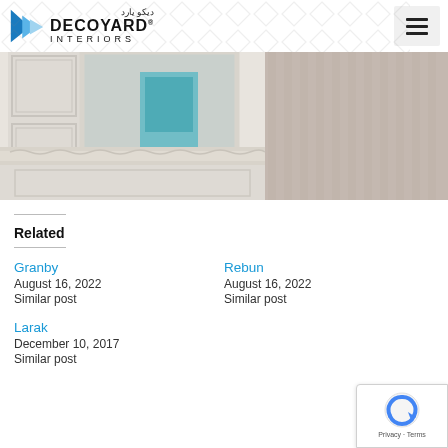دیکو یارد  DECOYARD INTERIORS
[Figure (photo): Interior room with white decorative molding, ornate wall panels, a mirror reflecting a teal upholstered chair, and striped taupe wallpaper]
Related
Granby
August 16, 2022
Similar post
Rebun
August 16, 2022
Similar post
Larak
December 10, 2017
Similar post